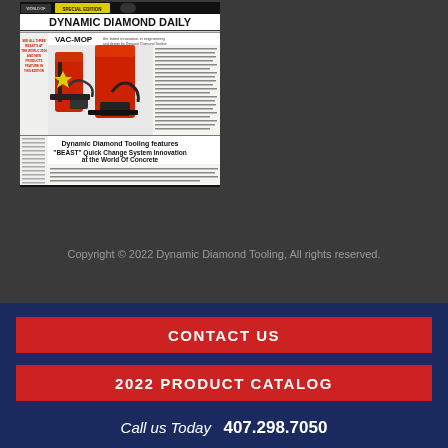[Figure (screenshot): Thumbnail of Dynamic Diamond Daily newspaper front page featuring VAC-MOP product and headline about BEAST Quick Change System Innovation at the World Of Concrete]
Copyright © 2022 Dynamic Diamond Tooling, All rights reserved.
CONTACT US
2022 PRODUCT CATALOG
Call us Today  407.298.7050